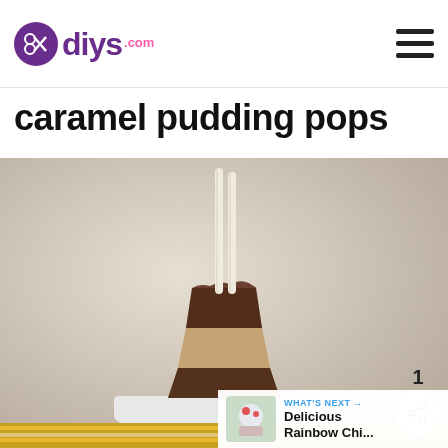diys.com
caramel pudding pops
[Figure (photo): Photo of caramel pudding pop with white sticks, showing three layers: dark chocolate at bottom, cream/caramel in middle, and dark chocolate on top, sitting on a white plate with a striped yellow napkin beneath]
WHAT'S NEXT → Delicious Rainbow Chi...